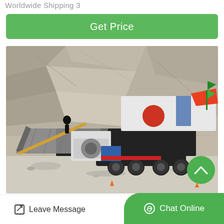Worldwide Shipping 3
Get Price
[Figure (photo): Mobile crushing plant / stone crusher machine on a trailer in a quarry, with rocky cliff face in the background. The machine has a conveyor belt, black frame, white hopper with red and orange accents.]
Leave Message
Chat Online